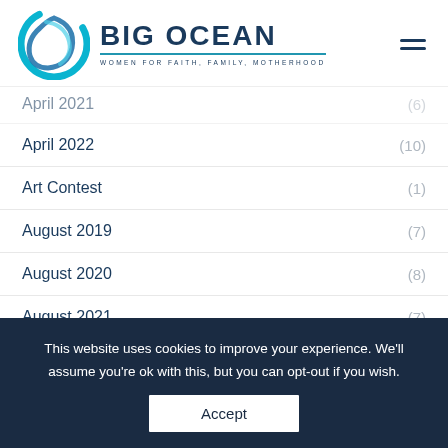BIG OCEAN — WOMEN FOR FAITH, FAMILY, MOTHERHOOD
April 2021 (6)
April 2022 (10)
Art Contest (1)
August 2019 (7)
August 2020 (8)
August 2021 (7)
August 2022 (9)
Big Ocean Live (18)
This website uses cookies to improve your experience. We'll assume you're ok with this, but you can opt-out if you wish. Accept